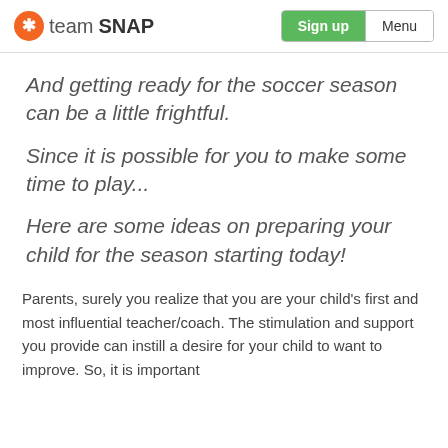teamSNAP | Sign up | Menu
And getting ready for the soccer season can be a little frightful.
Since it is possible for you to make some time to play...
Here are some ideas on preparing your child for the season starting today!
Parents, surely you realize that you are your child's first and most influential teacher/coach. The stimulation and support you provide can instill a desire for your child to want to improve. So, it is important